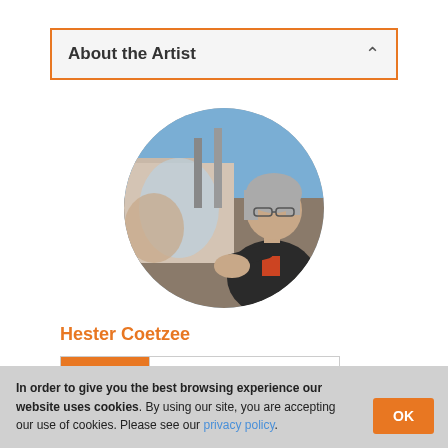About the Artist
[Figure (photo): Circular profile photo of artist Hester Coetzee in her art studio, painting at an easel surrounded by canvases and art supplies.]
Hester Coetzee
Follow   Followers (New)
In order to give you the best browsing experience our website uses cookies. By using our site, you are accepting our use of cookies. Please see our privacy policy.